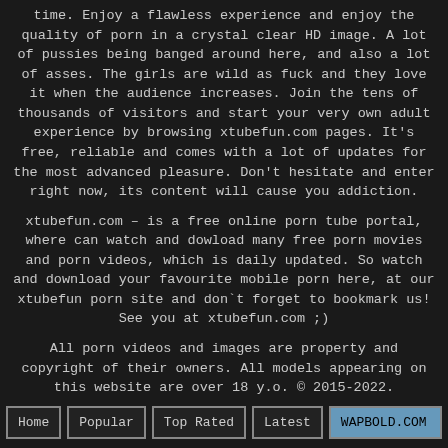time. Enjoy a flawless experience and enjoy the quality of porn in a crystal clear HD image. A lot of pussies being banged around here, and also a lot of asses. The girls are wild as fuck and they love it when the audience increases. Join the tens of thousands of visitors and start your very own adult experience by browsing xtubefun.com pages. It's free, reliable and comes with a lot of updates for the most advanced pleasure. Don't hesitate and enter right now, its content will cause you addiction.
xtubefun.com – is a free online porn tube portal, where can watch and dowload many free porn movies and porn videos, which is daily updated. So watch and download your favourite mobile porn here, at our xtubefun porn site and don`t forget to bookmark us! See you at xtubefun.com ;)
All porn videos and images are property and copyright of their owners. All models appearing on this website are over 18 y.o. © 2015-2022.
Home | Popular | Top Rated | Latest | WAPBOLD.COM